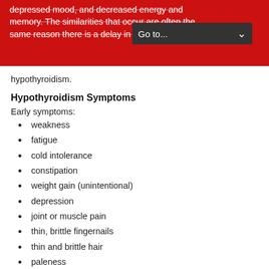depressed mood, and decreased energy and memory. The similarities that occur are often the same reason there is a delay in the diagnosis of hypothyroidism.
Hypothyroidism Symptoms
Early symptoms:
weakness
fatigue
cold intolerance
constipation
weight gain (unintentional)
depression
joint or muscle pain
thin, brittle fingernails
thin and brittle hair
paleness
Late symptoms: